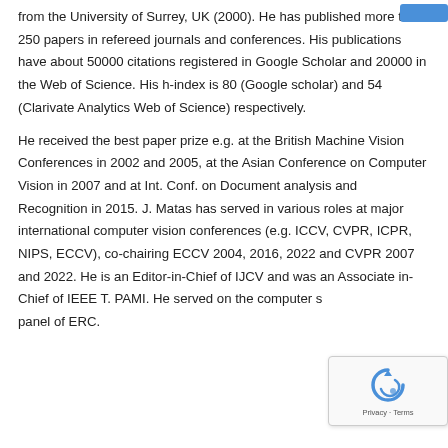from the University of Surrey, UK (2000). He has published more than 250 papers in refereed journals and conferences. His publications have about 50000 citations registered in Google Scholar and 20000 in the Web of Science. His h-index is 80 (Google scholar) and 54 (Clarivate Analytics Web of Science) respectively.
He received the best paper prize e.g. at the British Machine Vision Conferences in 2002 and 2005, at the Asian Conference on Computer Vision in 2007 and at Int. Conf. on Document analysis and Recognition in 2015. J. Matas has served in various roles at major international computer vision conferences (e.g. ICCV, CVPR, ICPR, NIPS, ECCV), co-chairing ECCV 2004, 2016, 2022 and CVPR 2007 and 2022. He is an Editor-in-Chief of IJCV and was an Associate in-Chief of IEEE T. PAMI. He served on the computer science panel of ERC.